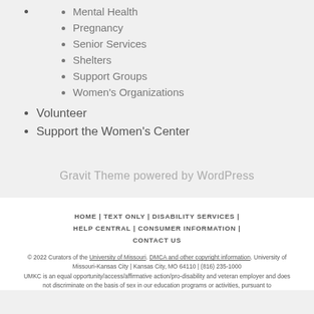Mental Health
Pregnancy
Senior Services
Shelters
Support Groups
Women's Organizations
Volunteer
Support the Women's Center
Gravit Theme powered by WordPress
HOME | TEXT ONLY | DISABILITY SERVICES | HELP CENTRAL | CONSUMER INFORMATION | CONTACT US
© 2022 Curators of the University of Missouri. DMCA and other copyright information. University of Missouri-Kansas City | Kansas City, MO 64110 | (816) 235-1000
UMKC is an equal opportunity/access/affirmative action/pro-disability and veteran employer and does not discriminate on the basis of sex in our education programs or activities, pursuant to